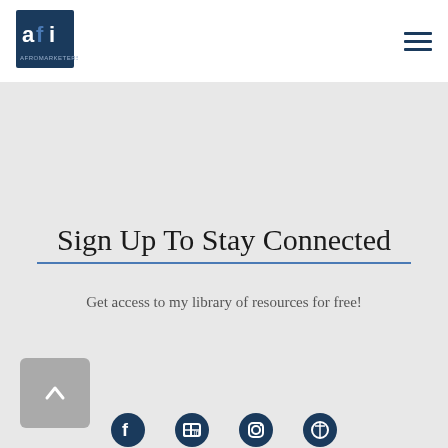[Figure (logo): AFI logo in dark navy blue, square icon with letters AFI and text below]
[Figure (other): Hamburger menu icon with three horizontal dark navy lines]
Sign Up To Stay Connected
Get access to my library of resources for free!
[Figure (other): Social media icons: Facebook, LinkedIn, Instagram, Pinterest]
Home
[Figure (other): Back to top button, gray rounded square with upward chevron arrow]